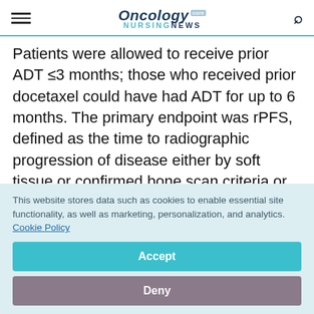Oncology CURE NURSINGNEWS
Patients were allowed to receive prior ADT ≤3 months; those who received prior docetaxel could have had ADT for up to 6 months. The primary endpoint was rPFS, defined as the time to radiographic progression of disease either by soft tissue or confirmed bone scan criteria or death from any cause within 24 weeks of
This website stores data such as cookies to enable essential site functionality, as well as marketing, personalization, and analytics. Cookie Policy
Accept
Deny